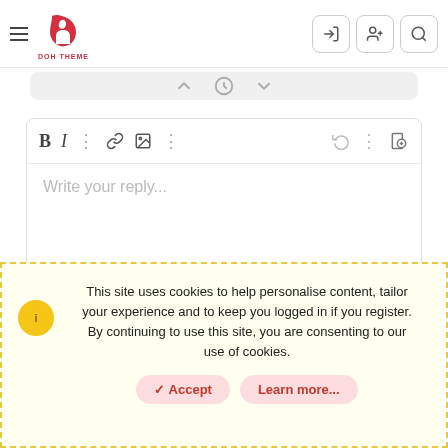[Figure (screenshot): Website header with hamburger menu, DOH THEME logo in red, and three icon buttons (login, add user, search) on the right]
[Figure (screenshot): Partial pagination bar with up and down arrow icons on a light gray background]
[Figure (screenshot): Text editor box with toolbar (Bold, Italic, dots, link, image, dots, undo, dots, file-search icons) and placeholder text 'Write your reply...']
Name:
This site uses cookies to help personalise content, tailor your experience and to keep you logged in if you register. By continuing to use this site, you are consenting to our use of cookies.
✓ Accept   Learn more...